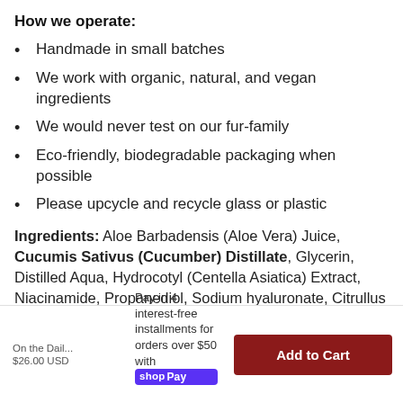How we operate:
Handmade in small batches
We work with organic, natural, and vegan ingredients
We would never test on our fur-family
Eco-friendly, biodegradable packaging when possible
Please upcycle and recycle glass or plastic
Ingredients: Aloe Barbadensis (Aloe Vera) Juice, Cucumis Sativus (Cucumber) Distillate, Glycerin, Distilled Aqua, Hydrocotyl (Centella Asiatica) Extract, Niacinamide, Propanediol, Sodium hyaluronate, Citrullus Lanatus (Watermelon) Extract, Phenoxyethanol (and) Ethylhexylglycerin
Pay in 4 interest-free installments for orders over $50 with Shop Pay
On the Dail... $26.00 USD
Learn more
Add to Cart